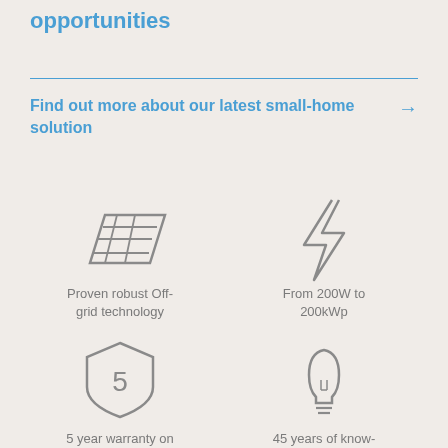opportunities
Find out more about our latest small-home solution →
[Figure (illustration): Solar panel icon (outline style, parallelogram with grid lines)]
Proven robust Off-grid technology
[Figure (illustration): Lightning bolt / electric power icon (outline style)]
From 200W to 200kWp
[Figure (illustration): Shield with number 5 inside (warranty icon, outline style)]
5 year warranty on
[Figure (illustration): Light bulb icon (outline style)]
45 years of know-